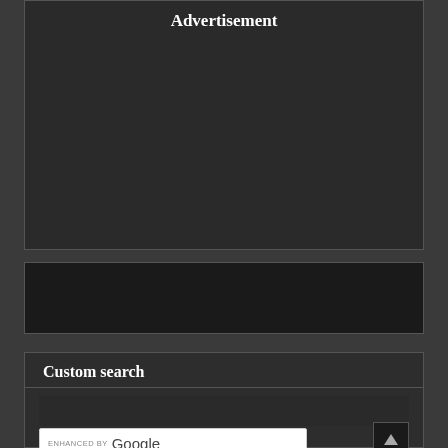[Figure (other): Advertisement placeholder block - dark rectangle with 'Advertisement' label at top]
[Figure (other): Middle horizontal banner - dark rectangle placeholder]
Custom search
[Figure (other): Custom search widget area with Google enhanced search bar, SEARCH button, and back-to-top arrow button]